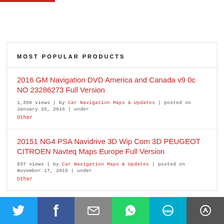MOST POPULAR PRODUCTS
2016 GM Navigation DVD America and Canada v9 0c NO 23286273 Full Version
1,350 views | by Car Navigation Maps & Updates | posted on January 26, 2016 | under Other
20151 NG4 PSA Navidrive 3D Wip Com 3D PEUGEOT CITROEN Navteq Maps Europe Full Version
937 views | by Car Navigation Maps & Updates | posted on November 17, 2015 | under Other
[Figure (infographic): Social sharing bar with Twitter, Facebook, Email, WhatsApp, SMS, and More buttons]